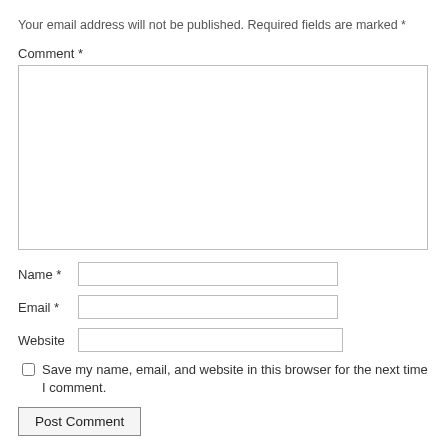Your email address will not be published. Required fields are marked *
Comment *
Name *
Email *
Website
Save my name, email, and website in this browser for the next time I comment.
Post Comment
COMMENTS (7)